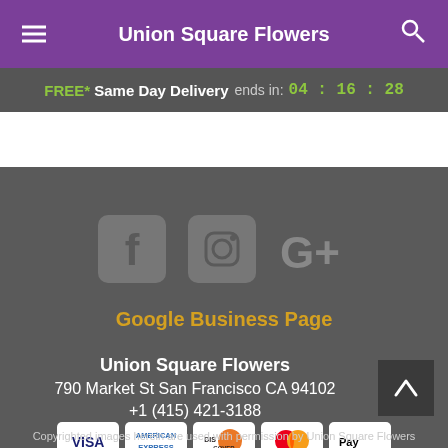Union Square Flowers
FREE* Same Day Delivery ends in: 04:16:28
[Figure (screenshot): Social media icons: Facebook, Instagram, Google+]
Google Business Page
Union Square Flowers
790 Market St San Francisco CA 94102
+1 (415) 421-3188
[Figure (screenshot): Payment icons: VISA, American Express, Discover, Mastercard, Apple Pay]
Copyrighted images herein are used with permission by Union Square Flowers